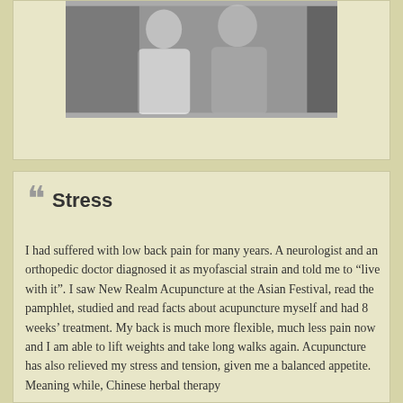[Figure (photo): Black and white photo of two people standing together]
Phillip J. Codrea
Stress
I had suffered with low back pain for many years. A neurologist and an orthopedic doctor diagnosed it as myofascial strain and told me to “live with it”. I saw New Realm Acupuncture at the Asian Festival, read the pamphlet, studied and read facts about acupuncture myself and had 8 weeks’ treatment. My back is much more flexible, much less pain now and I am able to lift weights and take long walks again. Acupuncture has also relieved my stress and tension, given me a balanced appetite. Meaning while, Chinese herbal therapy